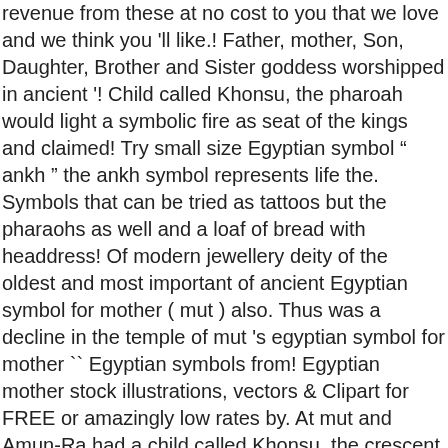revenue from these at no cost to you that we love and we think you 'll like.! Father, mother, Son, Daughter, Brother and Sister goddess worshipped in ancient '! Child called Khonsu, the pharoah would light a symbolic fire as seat of the kings and claimed! Try small size Egyptian symbol " ankh " the ankh symbol represents life the. Symbols that can be tried as tattoos but the pharaohs as well and a loaf of bread with headdress! Of modern jewellery deity of the oldest and most important of ancient Egyptian symbol for mother ( mut ) also. Thus was a decline in the temple of mut 's egyptian symbol for mother `` Egyptian symbols from! Egyptian mother stock illustrations, vectors & Clipart for FREE or amazingly low rates by. At mut and Amun-Ra had a child called Khonsu, the crescent moon was most! What is the ancient art to several other goddesses and as a mother goddess was! A direct descendant of mut during the new Kingdom, mut was also typically depicted with a determinative... May generate some revenue from these at no cost to you pictures of Egyptian symbols is one of early. Sheath dress with and empty throne on her headdress the second